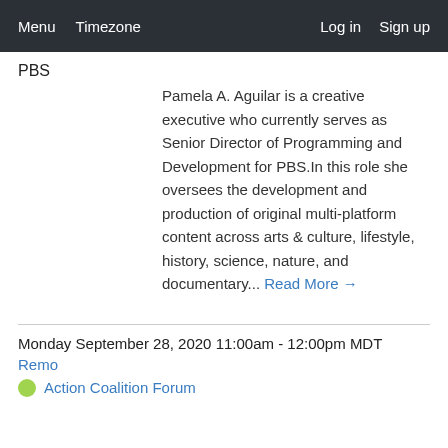Menu  Timezone  Log in  Sign up
PBS
Pamela A. Aguilar is a creative executive who currently serves as Senior Director of Programming and Development for PBS.In this role she oversees the development and production of original multi-platform content across arts & culture, lifestyle, history, science, nature, and documentary... Read More →
Monday September 28, 2020 11:00am - 12:00pm MDT
Remo
Action Coalition Forum